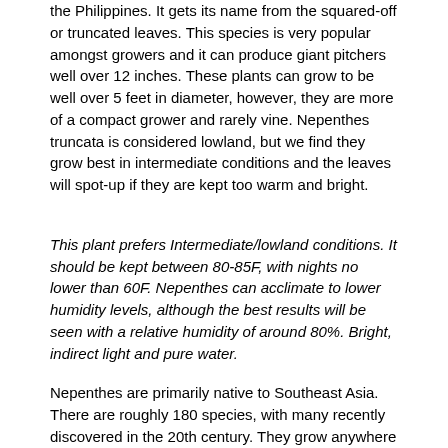the Philippines. It gets its name from the squared-off or truncated leaves. This species is very popular amongst growers and it can produce giant pitchers well over 12 inches. These plants can grow to be well over 5 feet in diameter, however, they are more of a compact grower and rarely vine. Nepenthes truncata is considered lowland, but we find they grow best in intermediate conditions and the leaves will spot-up if they are kept too warm and bright.
This plant prefers Intermediate/lowland conditions. It should be kept between 80-85F, with nights no lower than 60F. Nepenthes can acclimate to lower humidity levels, although the best results will be seen with a relative humidity of around 80%. Bright, indirect light and pure water.
Nepenthes are primarily native to Southeast Asia. There are roughly 180 species, with many recently discovered in the 20th century. They grow anywhere from hot, sticky jungles to chill mountain tops high above the clouds. Tho Nepenthes were once